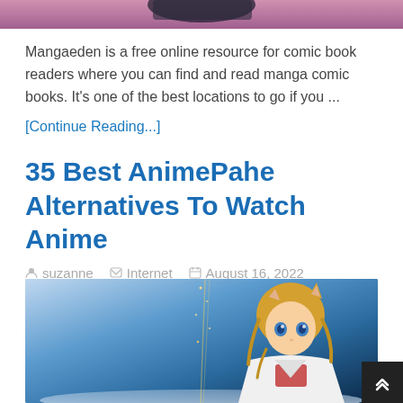[Figure (photo): Cropped top portion of an anime character image, partially visible at the top of the page]
Mangaeden is a free online resource for comic book readers where you can find and read manga comic books. It's one of the best locations to go if you ...
[Continue Reading...]
35 Best AnimePahe Alternatives To Watch Anime
suzanne   Internet   August 16, 2022
[Figure (photo): Anime character with cat ears, blonde hair, blue eyes, wearing a white jacket, with a dark starry background]